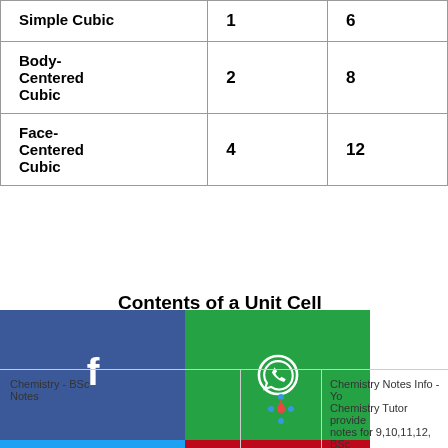| Crystal Type | Atoms per Unit Cell | Coordination Number |
| --- | --- | --- |
| Simple Cubic | 1 | 6 |
| Body-Centered Cubic | 2 | 8 |
| Face-Centered Cubic | 4 | 12 |
Contents of a Unit Cell
unit cell is the number often located at lattice ize, the higher the coo en volume. another, with no gaps
[Figure (infographic): Social media share buttons overlay: Facebook (blue), WhatsApp (green), Twitter (blue), Pinterest (red), Telegram (blue), Link (grey), Subscribe (green)]
Chemistry - BSc Notes | Chemistry Notes Info - Yo Chemistry Tutor provide notes for 9,10,11,12, BSc